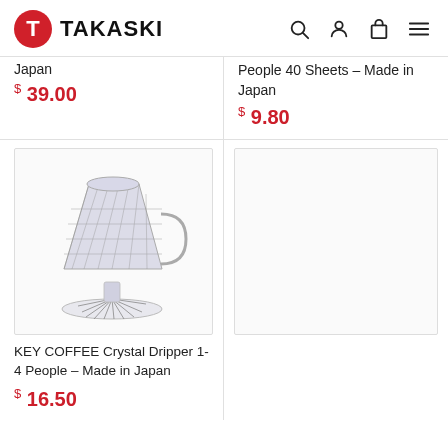TAKASKI
Japan
$ 39.00
People 40 Sheets – Made in Japan
$ 9.80
[Figure (photo): Crystal coffee dripper with diamond-cut pattern, handle, and circular base - KEY COFFEE Crystal Dripper]
KEY COFFEE Crystal Dripper 1-4 People – Made in Japan
$ 16.50